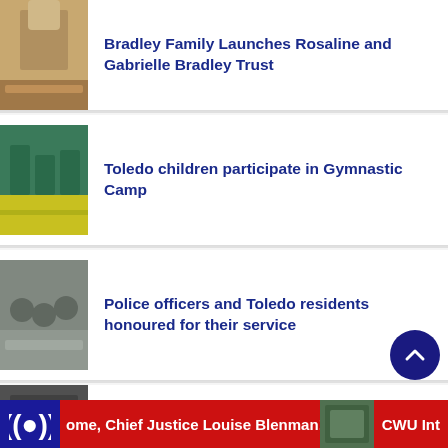[Figure (photo): Thumbnail photo of a person at a podium or stage, warm tones]
Bradley Family Launches Rosaline and Gabrielle Bradley Trust
[Figure (photo): Thumbnail photo of children at a gymnastic camp, green and yellow tones]
Toledo children participate in Gymnastic Camp
[Figure (photo): Thumbnail photo of police officers and residents gathered, grey tones]
Police officers and Toledo residents honoured for their service
[Figure (photo): Thumbnail photo, dark tones, partially visible]
At-Risk Youths Taken on Field Trip
ome, Chief Justice Louise Blenman!   CWU Int
[Figure (logo): Radio/broadcast logo icon in white on blue background]
[Figure (photo): Small news thumbnail on bottom bar, green tones]